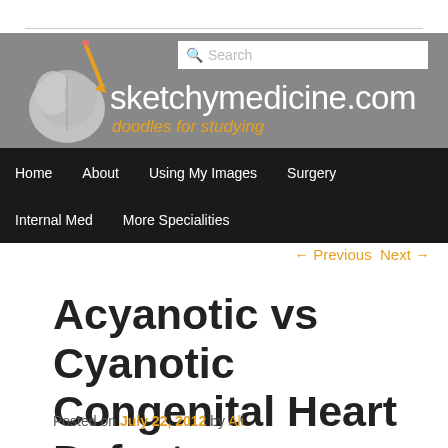[Figure (logo): sketchymedicine.com website header with brain logo, pencil, site name and tagline 'doodles for studying', search box, and navigation menu]
← Previous   Next →
Acyanotic vs Cyanotic Congenital Heart Defects
Posted on July 22, 2012 by Ali